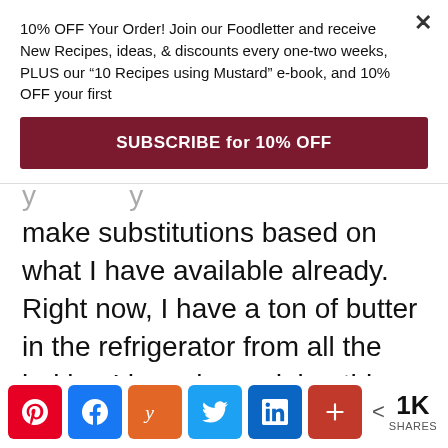10% OFF Your Order! Join our Foodletter and receive New Recipes, ideas, & discounts every one-two weeks, PLUS our “10 Recipes using Mustard” e-book, and 10% OFF your first
SUBSCRIBE for 10% OFF
make substitutions based on what I have available already. Right now, I have a ton of butter in the refrigerator from all the baking I have been doing this season. So, the original recipe asked for all-vegetable shortening to be used to grease the Bundt cake pan, and I was not planning to buy
< 1K SHARES